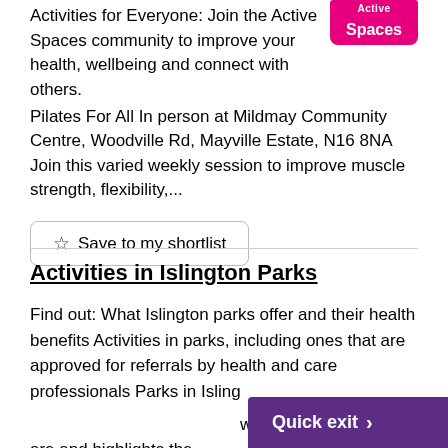Activities for Everyone: Join the Active Spaces community to improve your health, wellbeing and connect with others.
[Figure (logo): Active Spaces logo badge with pink/magenta background and white text]
Pilates For All In person at Mildmay Community Centre, Woodville Rd, Mayville Estate, N16 8NA Join this varied weekly session to improve muscle strength, flexibility,...
☆ Save to my shortlist
Activities in Islington Parks
Find out: What Islington parks offer and their health benefits Activities in parks, including ones that are approved for referrals by health and care professionals Parks in Islington where Islington parks are and highlights the